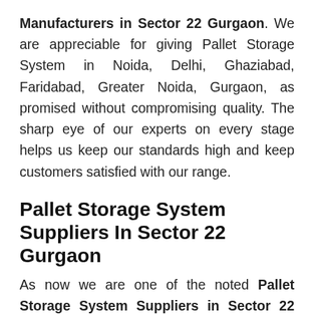Manufacturers in Sector 22 Gurgaon. We are appreciable for giving Pallet Storage System in Noida, Delhi, Ghaziabad, Faridabad, Greater Noida, Gurgaon, as promised without compromising quality. The sharp eye of our experts on every stage helps us keep our standards high and keep customers satisfied with our range.
Pallet Storage System Suppliers In Sector 22 Gurgaon
As now we are one of the noted Pallet Storage System Suppliers in Sector 22 Gurgaon, we take all steps possible to keep the position intact. Hence, you can rest assured on us for timely delivery and maximum customer support possible. If you want